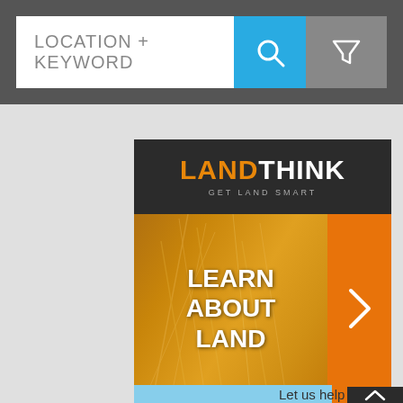[Figure (screenshot): Search bar UI with text field showing 'LOCATION + KEYWORD', a blue search button with magnifier icon, and a gray filter button with funnel icon]
[Figure (screenshot): LandThink advertisement banner with dark header showing 'LANDTHINK GET LAND SMART' logo, followed by golden wheat field image with 'LEARN ABOUT LAND' text overlay, an orange right-arrow tab, and partial bottom section with 'Let us help you' text]
Let us help you